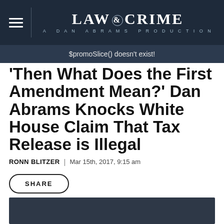LAW & CRIME | A DAN ABRAMS PRODUCTION
$promoSlice() doesn't exist!
'Then What Does the First Amendment Mean?' Dan Abrams Knocks White House Claim That Tax Release is Illegal
RONN BLITZER | Mar 15th, 2017, 9:15 am
SHARE
[Figure (other): Dark gray/navy video placeholder rectangle]